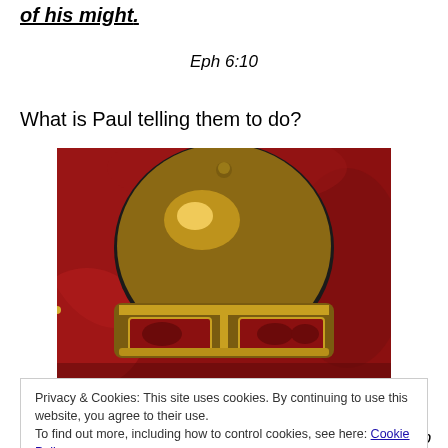of his might.
Eph 6:10
What is Paul telling them to do?
[Figure (photo): A gold Roman helmet against a red fabric background. The helmet has a dome-shaped top and ornate gold detailing along the lower rim with red accents.]
Privacy & Cookies: This site uses cookies. By continuing to use this website, you agree to their use.
To find out more, including how to control cookies, see here: Cookie Policy
truth, and the Gospel of God. These are what make up